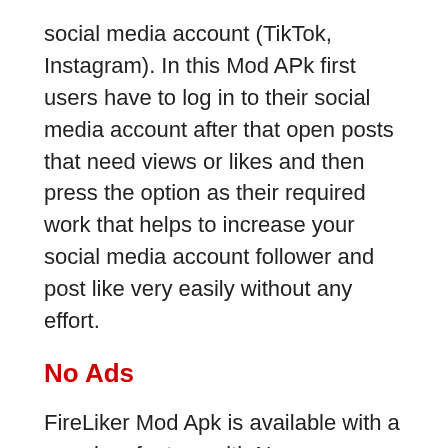social media account (TikTok, Instagram). In this Mod APk first users have to log in to their social media account after that open posts that need views or likes and then press the option as their required work that helps to increase your social media account follower and post like very easily without any effort.
No Ads
FireLiker Mod Apk is available with a premium feature with No advertisement that helps users properly finish their required things without being distracted or irritated by ADS( because all ADS companies have provided target-based that impacted the user and distracted their work).